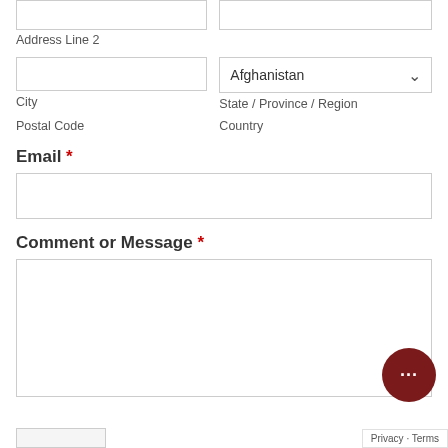Address Line 2
City
State / Province / Region
Postal Code
Country
Email *
Comment or Message *